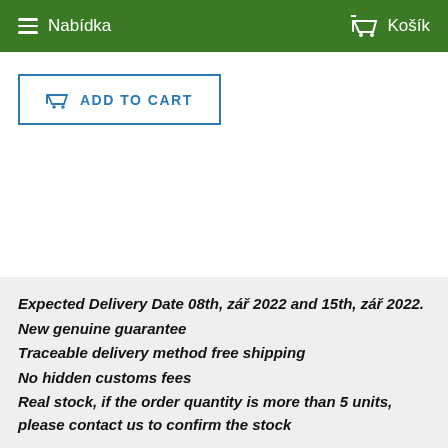Nabídka   Košík
ADD TO CART
Expected Delivery Date 08th, září 2022 and 15th, září 2022.
New genuine guarantee
Traceable delivery method free shipping
No hidden customs fees
Real stock, if the order quantity is more than 5 units, please contact us to confirm the stock